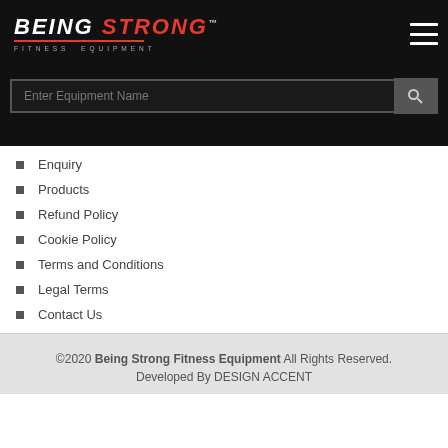[Figure (logo): Being Strong Fitness Equipment logo with white bold italic text on black background, red underline, and grey subtitle text]
Enter Equipment Name
Enquiry
Products
Refund Policy
Cookie Policy
Terms and Conditions
Legal Terms
Contact Us
©2020 Being Strong Fitness Equipment All Rights Reserved. Developed By DESIGN ACCENT